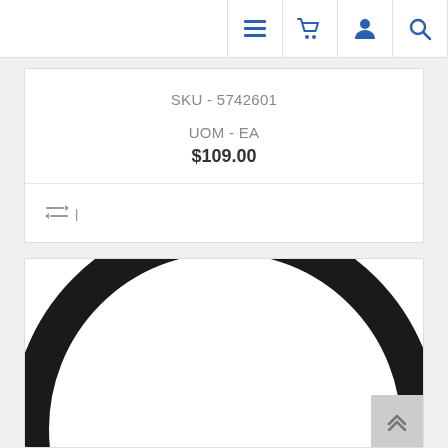Navigation bar with menu, cart, user, and search icons
SKU - 5742601
UOM - EA
$109.00
[Figure (photo): Close-up photo of a large black rubber O-ring or belt gasket, circular shaped, viewed from above on a white background.]